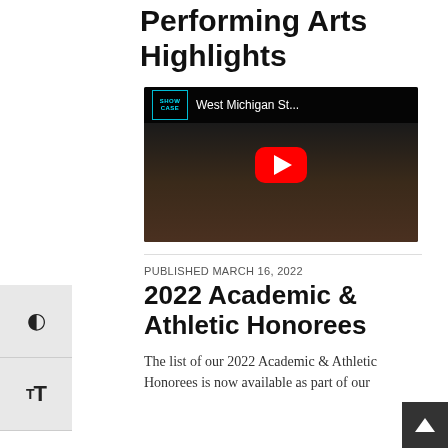Performing Arts Highlights
[Figure (screenshot): YouTube video thumbnail showing 'West Michigan St...' with red play button and Showcase logo, performer visible in background]
PUBLISHED MARCH 16, 2022
2022 Academic & Athletic Honorees
The list of our 2022 Academic & Athletic Honorees is now available as part of our